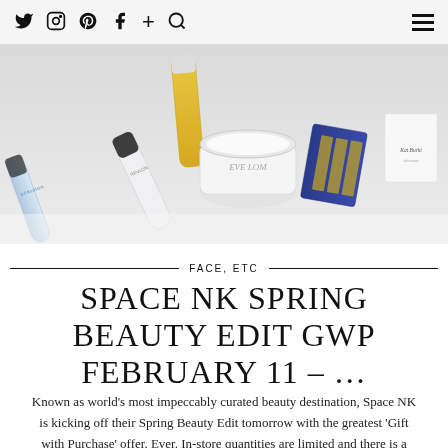Twitter Instagram Pinterest Facebook + Search [hamburger menu]
[Figure (photo): Flat lay photograph of various beauty/skincare products on a white surface including tubes, a cream jar, a blue package, and a small white box labelled Kat Burki]
FACE, ETC
SPACE NK SPRING BEAUTY EDIT GWP FEBRUARY 11 – ...
Known as world's most impeccably curated beauty destination, Space NK is kicking off their Spring Beauty Edit tomorrow with the greatest 'Gift with Purchase' offer. Ever. In-store quantities are limited and there is a